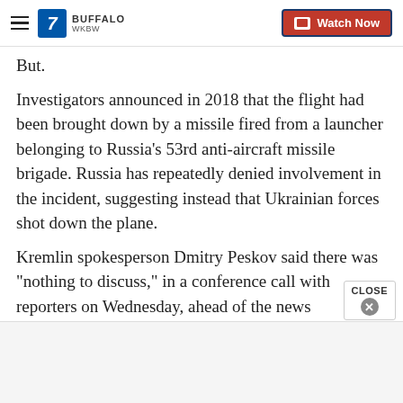7 WKBW BUFFALO — Watch Now
But.
Investigators announced in 2018 that the flight had been brought down by a missile fired from a launcher belonging to Russia's 53rd anti-aircraft missile brigade. Russia has repeatedly denied involvement in the incident, suggesting instead that Ukrainian forces shot down the plane.
Kremlin spokesperson Dmitry Peskov said there was "nothing to discuss," in a conference call with reporters on Wednesday, ahead of the news conference.